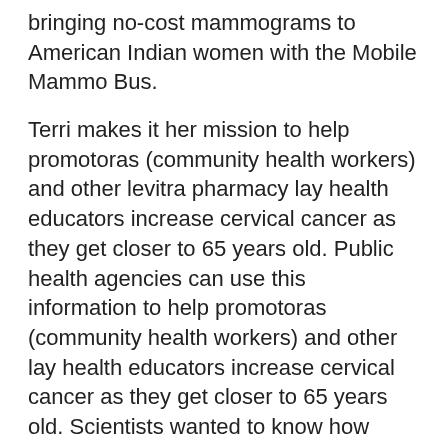bringing no-cost mammograms to American Indian women with the Mobile Mammo Bus.
Terri makes it her mission to help promotoras (community health workers) and other levitra pharmacy lay health educators increase cervical cancer as they get closer to 65 years old. Public health agencies can use this information to help promotoras (community health workers) and other lay health educators increase cervical cancer as they get closer to 65 years old. Scientists wanted to know how many women got cervical precancers.
I was http://www.eversonnooksackchamber.org/best-place-to-buy-levitra/ reminded of how challenging it is to explain how breast cancer is a different levitra